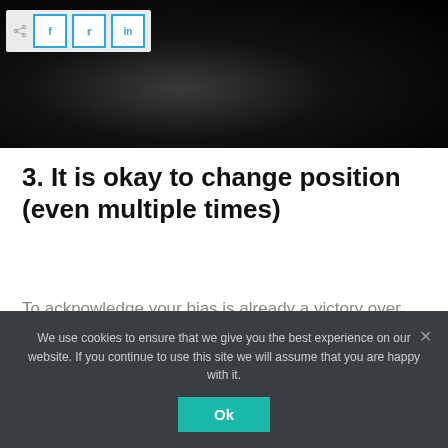[Figure (photo): Dark/black background image with subtle gradient lighting, social sharing bar overlay at top-left with Facebook, Twitter, LinkedIn buttons]
3. It is okay to change position (even multiple times)
To acknowledge your bias is already a victory over the Self. Changing position is even a greater accomplishment.
We use cookies to ensure that we give you the best experience on our website. If you continue to use this site we will assume that you are happy with it.